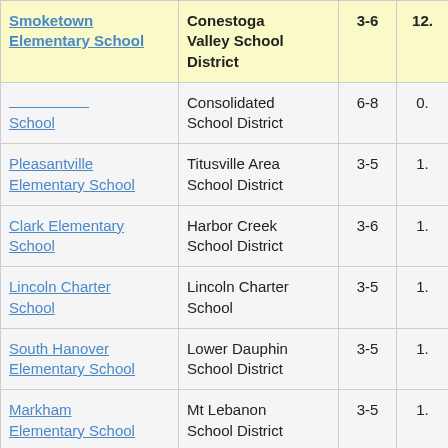| School | District | Grades | Score |
| --- | --- | --- | --- |
| Smoketown Elementary School | Conestoga Valley School District | 3-6 | 12. |
| [School] | Consolidated School District | 6-8 | 0. |
| Pleasantville Elementary School | Titusville Area School District | 3-5 | 1. |
| Clark Elementary School | Harbor Creek School District | 3-6 | 1. |
| Lincoln Charter School | Lincoln Charter School | 3-5 | 1. |
| South Hanover Elementary School | Lower Dauphin School District | 3-5 | 1. |
| Markham Elementary School | Mt Lebanon School District | 3-5 | 1. |
| Avalon Elementary School | Northgate School District | 3-6 | 1. |
| Howard Elementary... | Bald Eagle Area... |  |  |